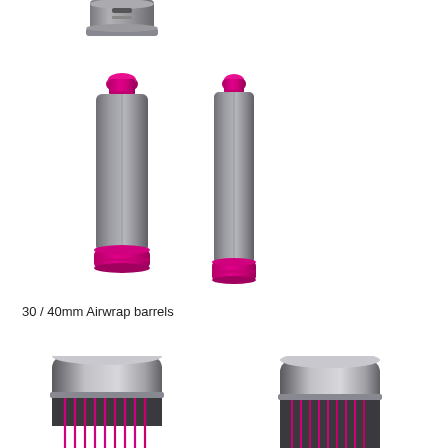[Figure (photo): Partial view of a Dyson Airwrap barrel connector/coupling piece in dark grey metallic finish, cropped at top of page]
[Figure (photo): Two Dyson Airwrap barrels side by side - left barrel is wider (40mm) and right barrel is narrower (30mm), both in dark grey with fuchsia/pink end caps at top and bottom]
30 / 40mm Airwrap barrels
[Figure (photo): Partial view of two Dyson Airwrap brush/comb attachments with silver bodies and pink bristles, cropped at bottom of page]